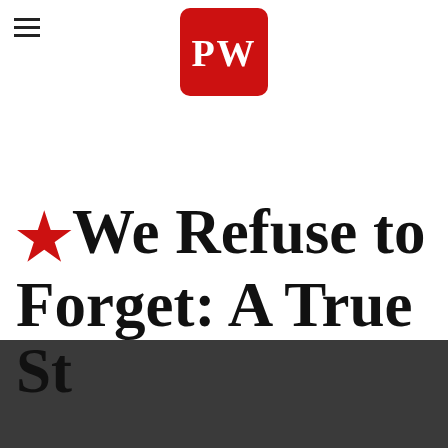[Figure (logo): PW (Publishers Weekly) red square logo with white serif letters PW]
★We Refuse to Forget: A True St